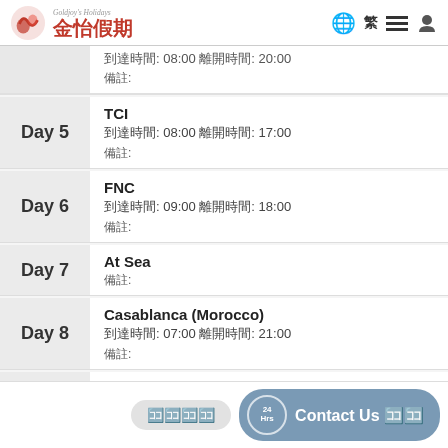金怡假期 Goldjoy Holidays 繁
到達時間: 08:00 離開時間: 20:00
備註:
Day 5 - TCI 到達時間: 08:00 離開時間: 17:00 備註:
Day 6 - FNC 到達時間: 09:00 離開時間: 18:00 備註:
Day 7 - At Sea 備註:
Day 8 - Casablanca (Morocco) 到達時間: 07:00 離開時間: 21:00 備註:
Day 9 - Cadiz (Spain) 到達時間: 10:00 離開時間: 20:00 備註:
Contact Us 🈁🈁